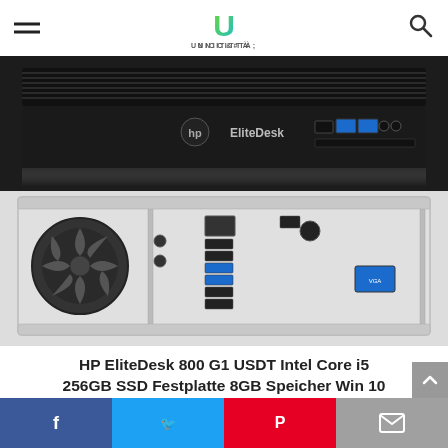UNICITTA
[Figure (photo): HP EliteDesk 800 G1 USDT desktop computer — front view showing the slim tower with HP logo, EliteDesk branding, USB ports and audio jacks]
[Figure (photo): HP EliteDesk 800 G1 USDT desktop computer — rear view showing fans, ports including USB, VGA, DisplayPort, PS/2, ethernet, and audio connectors]
HP EliteDesk 800 G1 USDT Intel Core i5 256GB SSD Festplatte 8GB Speicher Win 10 Do DVD D
Facebook Twitter Pinterest Email